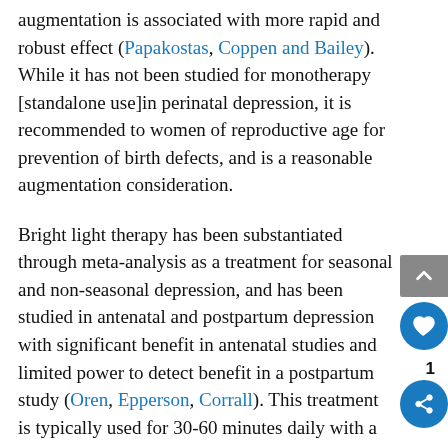augmentation is associated with more rapid and robust effect (Papakostas, Coppen and Bailey). While it has not been studied for monotherapy [standalone use]in perinatal depression, it is recommended to women of reproductive age for prevention of birth defects, and is a reasonable augmentation consideration.
Bright light therapy has been substantiated through meta-analysis as a treatment for seasonal and non-seasonal depression, and has been studied in antenatal and postpartum depression with significant benefit in antenatal studies and limited power to detect benefit in a postpartum study (Oren, Epperson, Corrall). This treatment is typically used for 30-60 minutes daily with a 10,000 lux light...